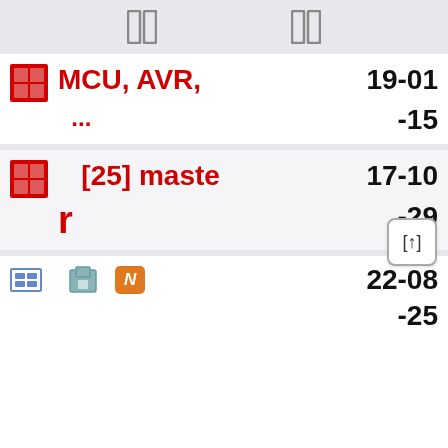header with column icons
MCU, AVR, 마이크로컨트롤러 관련 자료 모음 마이크로컨트롤러 기초부터 심화까지... 정리중 19-01 -15
아두이노 관련 자료 모음 [25] master r 17-10 -29
공개 자료 모음 저장소 22-08 -25